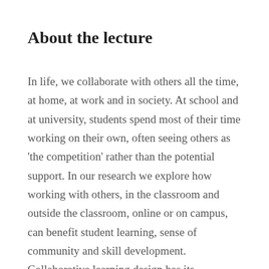About the lecture
In life, we collaborate with others all the time, at home, at work and in society. At school and at university, students spend most of their time working on their own, often seeing others as 'the competition' rather than the potential support. In our research we explore how working with others, in the classroom and outside the classroom, online or on campus, can benefit student learning, sense of community and skill development. Collaborative learning design has its challenges and is not always appreciated by students. We explain ways to manage lecturer effort and deliver benefit for students.